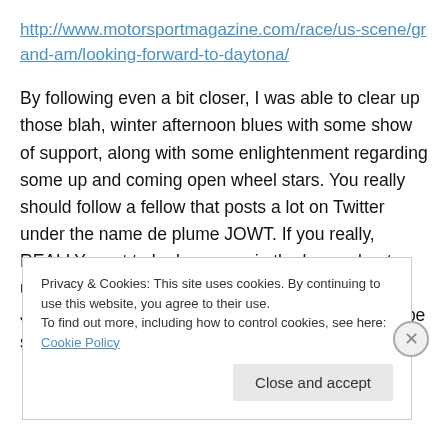http://www.motorsportmagazine.com/race/us-scene/grand-am/looking-forward-to-daytona/
By following even a bit closer, I was able to clear up those blah, winter afternoon blues with some show of support, along with some enlightenment regarding some up and coming open wheel stars. You really should follow a fellow that posts a lot on Twitter under the name de plume JOWT. If you really, REALLY want to be known as in the know about upcoming talent in the open wheel ranks, then Junior Open Wheel Talent is the place to see and be seen.
Privacy & Cookies: This site uses cookies. By continuing to use this website, you agree to their use.
To find out more, including how to control cookies, see here: Cookie Policy
Close and accept